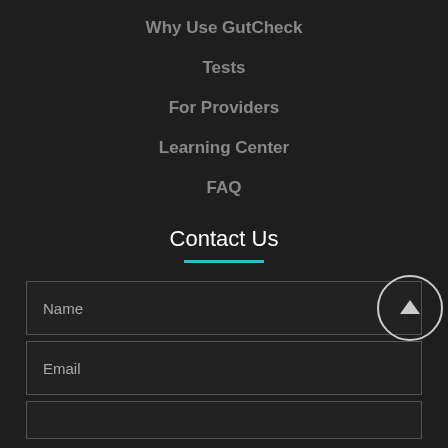Why Use GutCheck
Tests
For Providers
Learning Center
FAQ
Contact Us
Name
Email